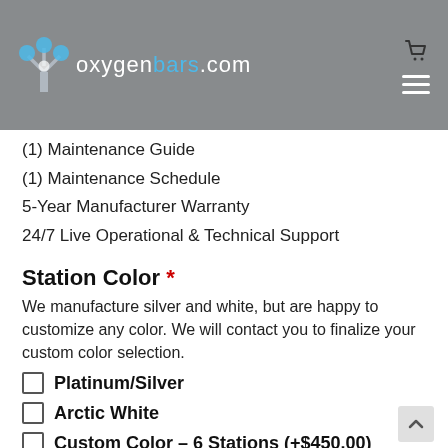oxygenbars.com
(1) Maintenance Guide
(1) Maintenance Schedule
5-Year Manufacturer Warranty
24/7 Live Operational & Technical Support
Station Color *
We manufacture silver and white, but are happy to customize any color. We will contact you to finalize your custom color selection.
Platinum/Silver
Arctic White
Custom Color – 6 Stations (+$450.00)
Custom Branding *